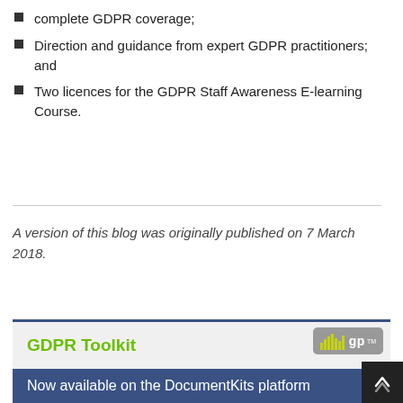complete GDPR coverage;
Direction and guidance from expert GDPR practitioners; and
Two licences for the GDPR Staff Awareness E-learning Course.
A version of this blog was originally published on 7 March 2018.
[Figure (infographic): GDPR Toolkit advertisement banner. Green text reading 'GDPR Toolkit', itgp logo top right on grey background. Dark blue lower section reads 'Now available on the DocumentKits platform', '80+ templates • Make compliance easy', 'Accelerate your project • Save time and money', and a pink 'Buy now' button.]